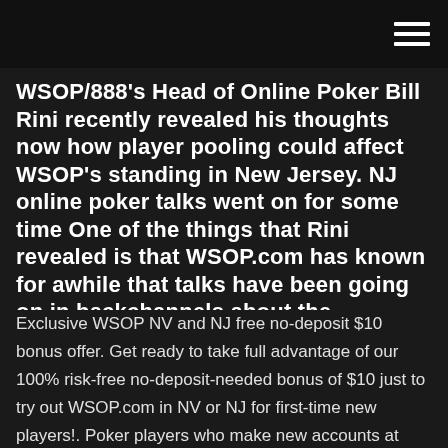WSOP/888's Head of Online Poker Bill Rini recently revealed his thoughts now how player pooling could affect WSOP's standing in New Jersey. NJ online poker talks went on for some time One of the things that Rini revealed is that WSOP.com has known for awhile that talks have been going on in backchannels about the possibility of player pooling.
Exclusive WSOP NV and NJ free no-deposit $10 bonus offer. Get ready to take full advantage of our 100% risk-free no-deposit-needed bonus of $10 just to try out WSOP.com in NV or NJ for first-time new players!. Poker players who make new accounts at WSOP … WSOP picks and chooses